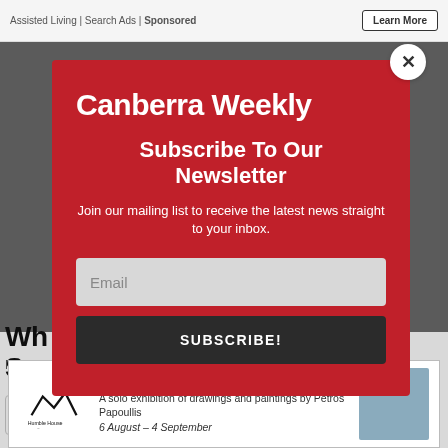Assisted Living | Search Ads | Sponsored
[Figure (screenshot): Background webpage content partially visible behind modal: a photo and partially visible article headline starting with 'Wh...' and 'Som...' with text 'Narc...' below]
[Figure (infographic): Canberra Weekly newsletter subscription modal popup. Red background with white text. Contains logo 'Canberra Weekly', headline 'Subscribe To Our Newsletter', description 'Join our mailing list to receive the latest news straight to your inbox.', an email input field, and a SUBSCRIBE! button. Has an X close button in top-right corner.]
[Figure (infographic): Bottom banner advertisement for Humble House gallery. Near Water - A solo exhibition of drawings and paintings by Petros Papoullis. 6 August - 4 September]